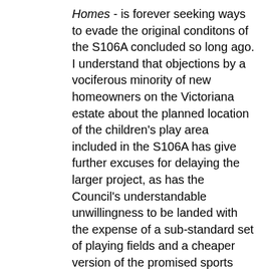Homes - is forever seeking ways to evade the original conditons of the S106A concluded so long ago. I understand that objections by a vociferous minority of new homeowners on the Victoriana estate about the planned location of the children's play area included in the S106A has give further excuses for delaying the larger project, as has the Council's understandable unwillingness to be landed with the expense of a sub-standard set of playing fields and a cheaper version of the promised sports pavilion. The developer and the city are still arguing about these standards and the resulting deadlock is being paid for by all those young people who could be enjoying this space and by the community as a whole who face the collateral damage to social cohesion caused by lack of youth provision.
Forgive the asperity in my tone, Waseem. Forgive me repeating myself. For all the help you have been to the community of late this is the one issue over which I am inclined to feel you